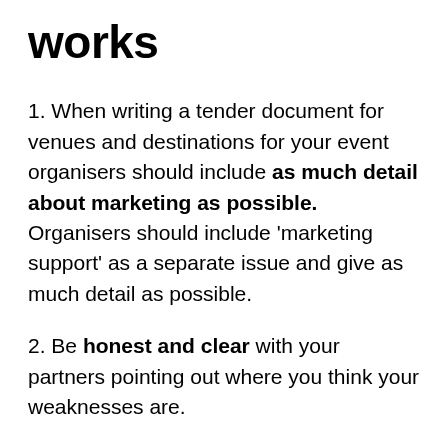works
1. When writing a tender document for venues and destinations for your event organisers should include as much detail about marketing as possible. Organisers should include 'marketing support' as a separate issue and give as much detail as possible.
2. Be honest and clear with your partners pointing out where you think your weaknesses are.
3. Marketing is such an important area